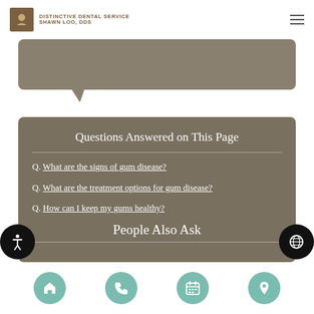DISTINCTIVE DENTAL SERVICE SHAWN LOO, DDS
[Figure (illustration): Speech bubble shape in tan/brown color with downward tail pointing left]
Questions Answered on This Page
Q. What are the signs of gum disease?
Q. What are the treatment options for gum disease?
Q. How can I keep my gums healthy?
People Also Ask
Navigation icons: home, phone, calendar, location